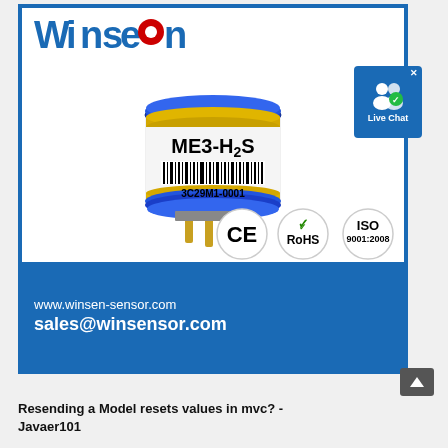[Figure (logo): Winsen logo with blue text and red dot on the 'o']
[Figure (photo): ME3-H2S electrochemical hydrogen sulfide gas sensor with blue and yellow ring, barcode label reading 3C29M1-0001, and gold pin connectors]
[Figure (logo): CE, RoHS, and ISO 9001:2008 certification logos]
www.winsen-sensor.com
sales@winsensor.com
[Figure (screenshot): Live Chat popup button with user icon]
Resending a Model resets values in mvc? - Javaer101